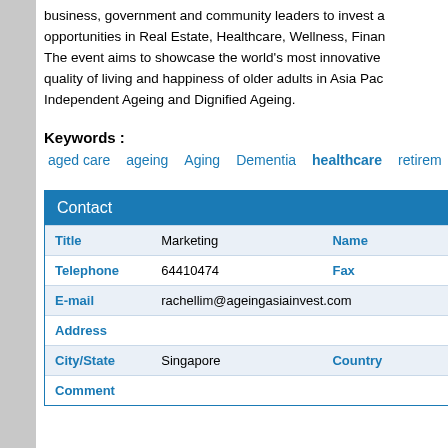business, government and community leaders to invest a opportunities in Real Estate, Healthcare, Wellness, Finan The event aims to showcase the world's most innovative quality of living and happiness of older adults in Asia Pac Independent Ageing and Dignified Ageing.
Keywords :
aged care
ageing
Aging
Dementia
healthcare
retirem
| Title | Marketing | Name |  |
| --- | --- | --- | --- |
| Telephone | 64410474 | Fax |  |
| E-mail | rachellim@ageingasiainvest.com |  |  |
| Address |  |  |  |
| City/State | Singapore | Country |  |
| Comment |  |  |  |